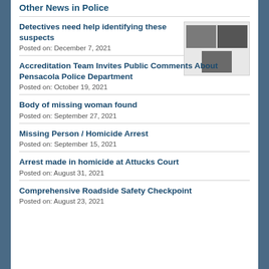Other News in Police
Detectives need help identifying these suspects
Posted on: December 7, 2021
[Figure (photo): Three thumbnail photos related to suspects]
Accreditation Team Invites Public Comments About Pensacola Police Department
Posted on: October 19, 2021
Body of missing woman found
Posted on: September 27, 2021
Missing Person / Homicide Arrest
Posted on: September 15, 2021
Arrest made in homicide at Attucks Court
Posted on: August 31, 2021
Comprehensive Roadside Safety Checkpoint
Posted on: August 23, 2021